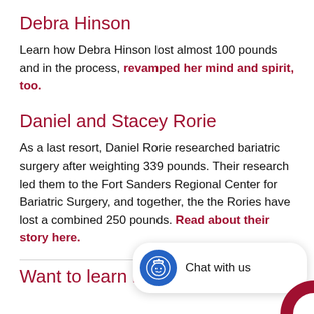Debra Hinson
Learn how Debra Hinson lost almost 100 pounds and in the process, revamped her mind and spirit, too.
Daniel and Stacey Rorie
As a last resort, Daniel Rorie researched bariatric surgery after weighting 339 pounds. Their research led them to the Fort Sanders Regional Center for Bariatric Surgery, and together, the the Rories have lost a combined 250 pounds. Read about their story here.
Want to learn more?
[Figure (other): Chat with us widget — blue circular icon with nurse/robot face, text 'Chat with us']